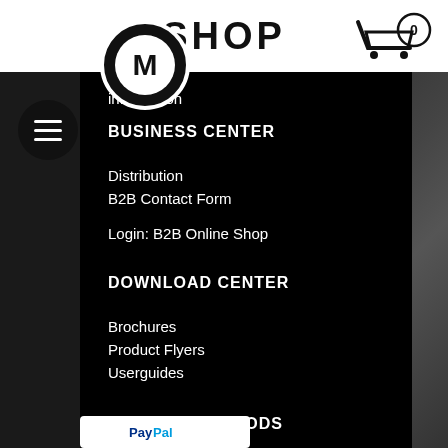SHOP
information
BUSINESS CENTER
Distribution
B2B Contact Form
Login: B2B Online Shop
DOWNLOAD CENTER
Brochures
Product Flyers
Userguides
PAYMENT METHODS